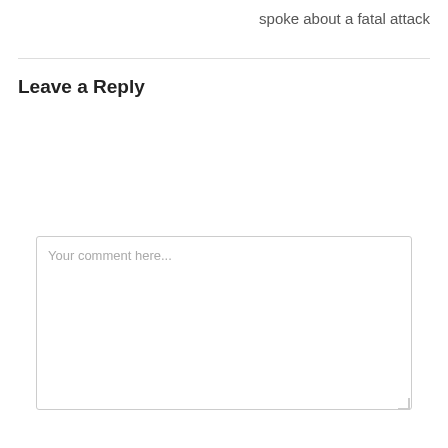spoke about a fatal attack
Leave a Reply
Your comment here...
Name (required)
Email (required)
Website